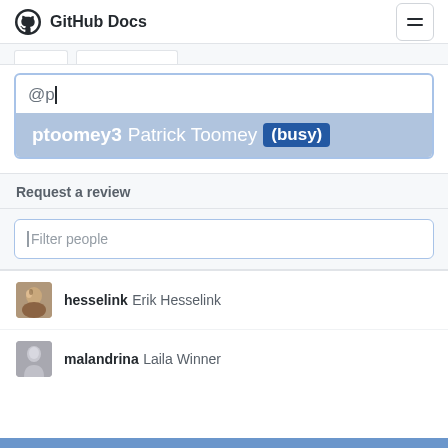GitHub Docs
[Figure (screenshot): GitHub Docs autocomplete showing @p typed in a text field, with a suggestion dropdown showing 'ptoomey3 Patrick Toomey (busy)' highlighted]
Request a review
[Figure (screenshot): Filter people input box with placeholder text 'Filter people']
hesselink Erik Hesselink
malandrina Laila Winner